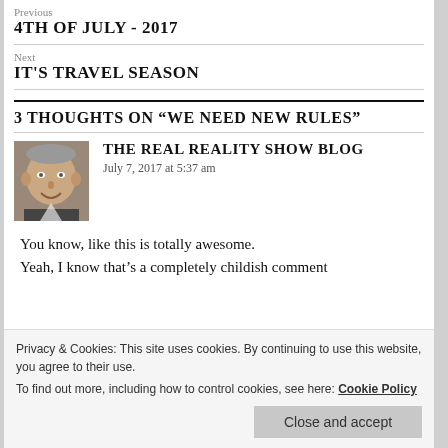Previous
4TH OF JULY - 2017
Next
IT'S TRAVEL SEASON
3 THOUGHTS ON “WE NEED NEW RULES”
[Figure (photo): Avatar photo of a smiling middle-aged man with grey hair]
THE REAL REALITY SHOW BLOG
July 7, 2017 at 5:37 am
You know, like this is totally awesome.
Yeah, I know that’s a completely childish comment
Privacy & Cookies: This site uses cookies. By continuing to use this website, you agree to their use.
To find out more, including how to control cookies, see here: Cookie Policy
Close and accept